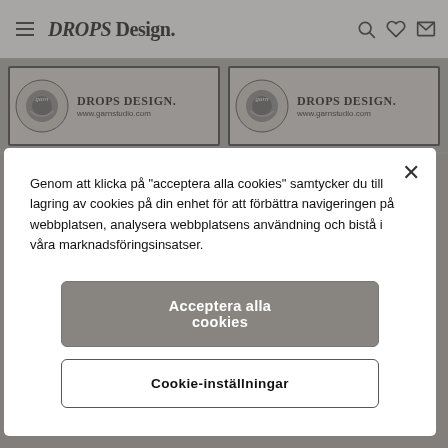[Figure (screenshot): DROPS Design website navigation bar with hamburger menu icon, DROPS Design logo, and search, heart, and envelope icons on the right]
[Figure (screenshot): Two DROPS Design banner images side by side showing the Drops Design logo with yarn ball graphic and www.garnstudio.com URL]
Genom att klicka på "acceptera alla cookies" samtycker du till lagring av cookies på din enhet för att förbättra navigeringen på webbplatsen, analysera webbplatsens användning och bistå i våra marknadsföringsinsatser.
Acceptera alla cookies
Cookie-inställningar